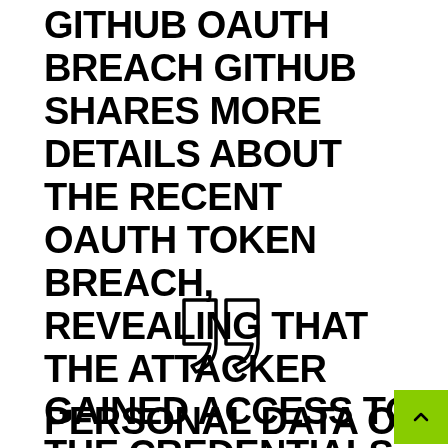GITHUB OAUTH BREACH GITHUB SHARES MORE DETAILS ABOUT THE RECENT OAUTH TOKEN BREACH, REVEALING THAT THE ATTACKER GAINED ACCESS TO THE CREDENTIALS OF NEARLY 100K NPM USERS.
[Figure (illustration): Large closing double quotation mark icon in outline style]
PERSONAL DATA OF TENS OF MILLIONS OF RUSSIANS AND UKRAINIANS EXPOSED ONLINE